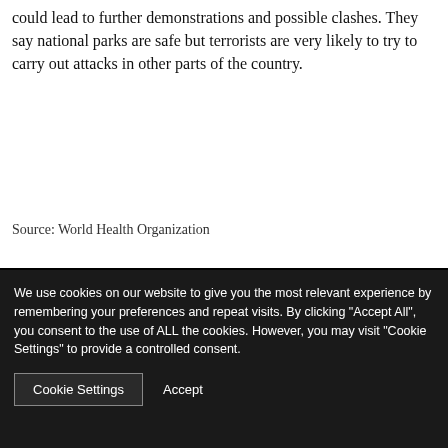could lead to further demonstrations and possible clashes. They say national parks are safe but terrorists are very likely to try to carry out attacks in other parts of the country.
Source: World Health Organization
We use cookies on our website to give you the most relevant experience by remembering your preferences and repeat visits. By clicking "Accept All", you consent to the use of ALL the cookies. However, you may visit "Cookie Settings" to provide a controlled consent.